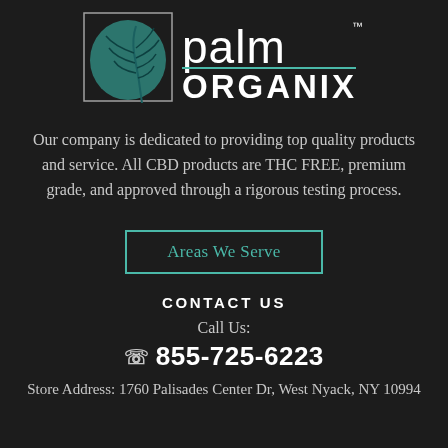[Figure (logo): Palm Organix logo with teal palm leaf and text 'palm ORGANIX' with TM mark]
Our company is dedicated to providing top quality products and service. All CBD products are THC FREE, premium grade, and approved through a rigorous testing process.
Areas We Serve
CONTACT US
Call Us:
☎ 855-725-6223
Store Address: 1760 Palisades Center Dr, West Nyack, NY 10994